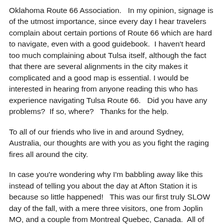Oklahoma Route 66 Association.   In my opinion, signage is of the utmost importance, since every day I hear travelers complain about certain portions of Route 66 which are hard to navigate, even with a good guidebook.  I haven't heard too much complaining about Tulsa itself, although the fact that there are several alignments in the city makes it complicated and a good map is essential. I would be interested in hearing from anyone reading this who has experience navigating Tulsa Route 66.   Did you have any problems?  If so, where?   Thanks for the help.
To all of our friends who live in and around Sydney, Australia, our thoughts are with you as you fight the raging fires all around the city.
In case you're wondering why I'm babbling away like this instead of telling you about the day at Afton Station it is because so little happened!   This was our first truly SLOW day of the fall, with a mere three visitors, one from Joplin MO, and a couple from Montreal Quebec, Canada.  All of them arrived early in the day, so for the rest of the day Ron M. and I did some cleaning.  (Ok, Ron did most of it.)  But we